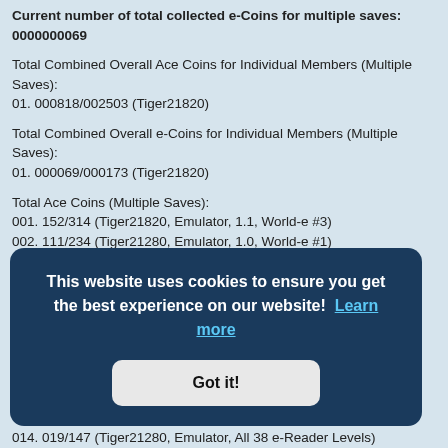Current number of total collected e-Coins for multiple saves: 0000000069
Total Combined Overall Ace Coins for Individual Members (Multiple Saves):
01. 000818/002503 (Tiger21820)
Total Combined Overall e-Coins for Individual Members (Multiple Saves):
01. 000069/000173 (Tiger21820)
Total Ace Coins (Multiple Saves):
001. 152/314 (Tiger21820, Emulator, 1.1, World-e #3)
002. 111/234 (Tiger21280, Emulator, 1.0, World-e #1)
003. 106/227 (Tiger21280, Emulator, 1.0, World-e #2)
004. 104/186 (Tiger21280, Emulator, 1.0, Main)
005. 102/137 (Tiger21820)
014. 019/147 (Tiger21280, Emulator, All 38 e-Reader Levels)
This website uses cookies to ensure you get the best experience on our website! Learn more
Got it!